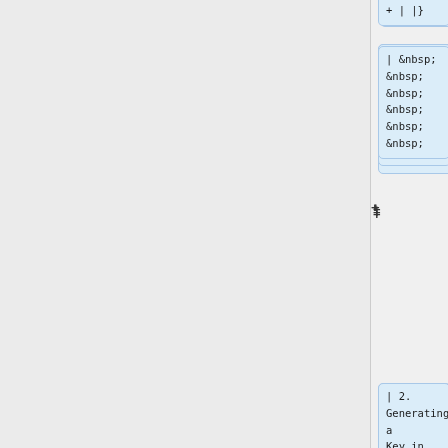| &nbsp; &nbsp; &nbsp; &nbsp; &nbsp; &nbsp;
| 2. Generating a Key in the Duo App
<p> [[File:duo_iphone1.PNG|200px]]</p>
|}
== VPN
== VPN